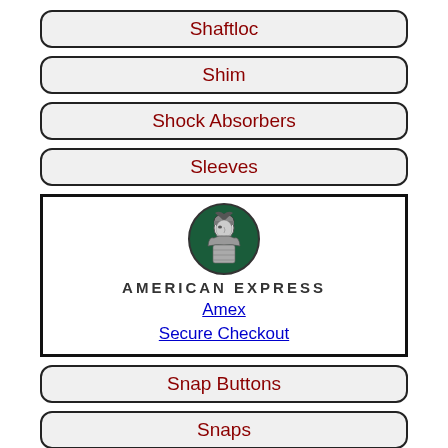Shaftloc
Shim
Shock Absorbers
Sleeves
[Figure (logo): American Express Centurion logo with circular emblem showing helmeted figure, text AMERICAN EXPRESS, and link text 'Amex Secure Checkout']
Snap Buttons
Snaps
Soldering
Spacers
Spare Part Boxes